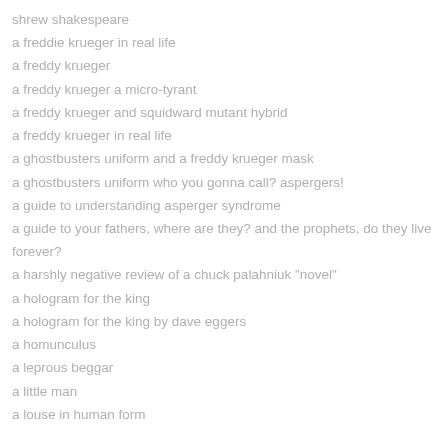shrew shakespeare
a freddie krueger in real life
a freddy krueger
a freddy krueger a micro-tyrant
a freddy krueger and squidward mutant hybrid
a freddy krueger in real life
a ghostbusters uniform and a freddy krueger mask
a ghostbusters uniform who you gonna call? aspergers!
a guide to understanding asperger syndrome
a guide to your fathers, where are they? and the prophets, do they live forever?
a harshly negative review of a chuck palahniuk "novel"
a hologram for the king
a hologram for the king by dave eggers
a homunculus
a leprous beggar
a little man
a louse in human form